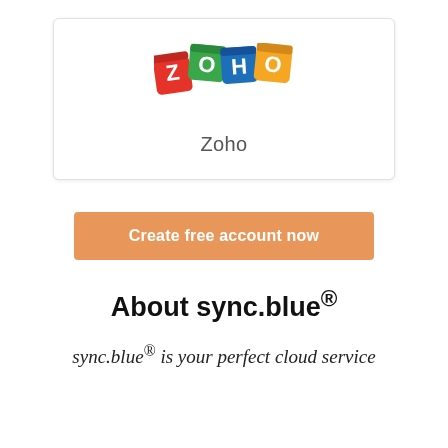[Figure (logo): Zoho logo made of colorful 3D cube letters Z O H O in red, green, blue, yellow]
Zoho
Create free account now
About sync.blue®
sync.blue® is your perfect cloud service